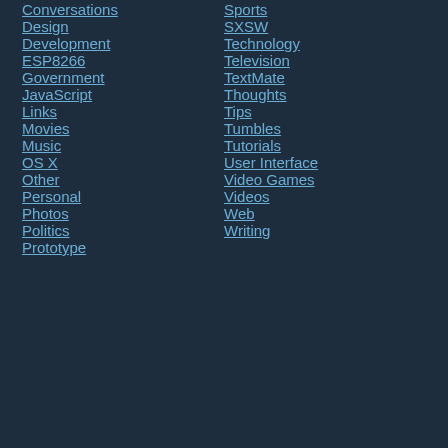Conversations
Design
Development
ESP8266
Government
JavaScript
Links
Movies
Music
OS X
Other
Personal
Photos
Politics
Prototype
Sports
SXSW
Technology
Television
TextMate
Thoughts
Tips
Tumbles
Tutorials
User Interface
Video Games
Videos
Web
Writing